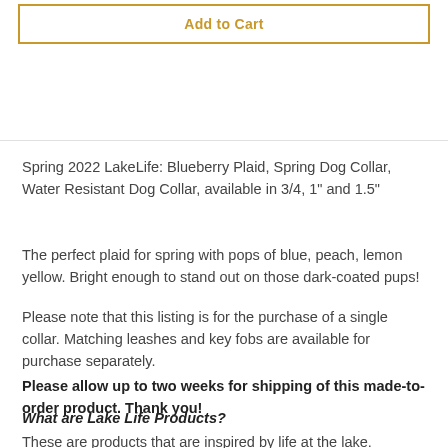Add to Cart
Spring 2022 LakeLife: Blueberry Plaid, Spring Dog Collar, Water Resistant Dog Collar, available in 3/4, 1" and 1.5"
The perfect plaid for spring with pops of blue, peach, lemon yellow. Bright enough to stand out on those dark-coated pups!
Please note that this listing is for the purchase of a single collar. Matching leashes and key fobs are available for purchase separately.
Please allow up to two weeks for shipping of this made-to-order product. Thank you!
What are Lake Life Products?
These are products that are inspired by life at the lake. Designed to